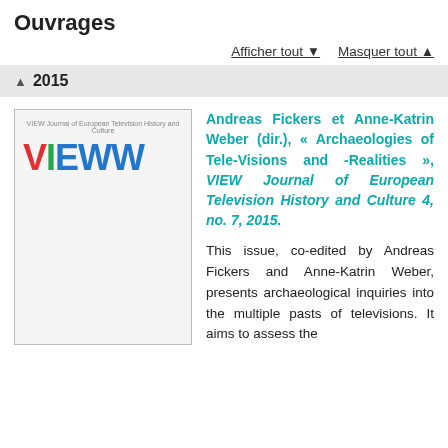Ouvrages
Afficher tout ▼   Masquer tout ▲
▲ 2015
[Figure (illustration): Cover of VIEW journal showing the word VIEW in large colored letters (V in red, I in green, EW in blue) on a light grey background]
Andreas Fickers et Anne-Katrin Weber (dir.), « Archaeologies of Tele-Visions and -Realities », VIEW Journal of European Television History and Culture 4, no. 7, 2015.
This issue, co-edited by Andreas Fickers and Anne-Katrin Weber, presents archaeological inquiries into the multiple pasts of televisions. It aims to assess the